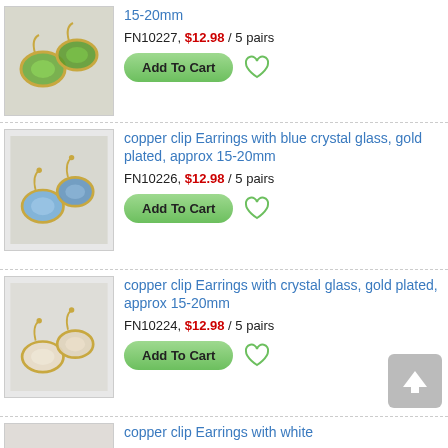[Figure (photo): Gold-plated clip earrings with green crystal glass, approx 15-20mm]
15-20mm
FN10227, $12.98 / 5 pairs
Add To Cart
[Figure (photo): Gold-plated clip earrings with blue crystal glass, approx 15-20mm]
copper clip Earrings with blue crystal glass, gold plated, approx 15-20mm
FN10226, $12.98 / 5 pairs
Add To Cart
[Figure (photo): Gold-plated clip earrings with crystal glass (clear/white), approx 15-20mm]
copper clip Earrings with crystal glass, gold plated, approx 15-20mm
FN10224, $12.98 / 5 pairs
Add To Cart
[Figure (photo): Gold-plated clip earrings with white crystal glass, approx 15-20mm]
copper clip Earrings with white